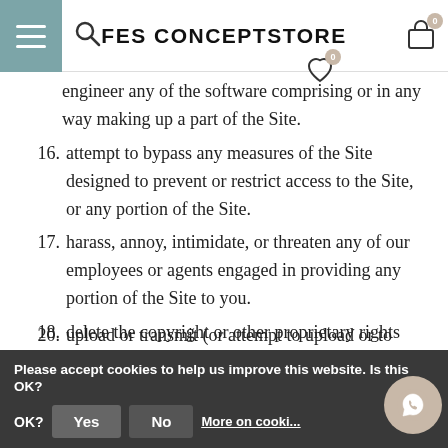FES CONCEPTSTORE
engineer any of the software comprising or in any way making up a part of the Site.
16. attempt to bypass any measures of the Site designed to prevent or restrict access to the Site, or any portion of the Site.
17. harass, annoy, intimidate, or threaten any of our employees or agents engaged in providing any portion of the Site to you.
18. delete the copyright or other proprietary rights notice from any Content.
19. copy or adapt the Site's software, including but
20. upload or transmit (or attempt to upload or to
Please accept cookies to help us improve this website. Is this OK?
Yes | No | More on cookies